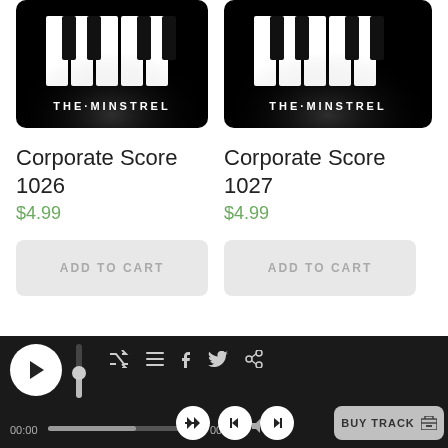[Figure (logo): The Minstrel piano keyboard logo - Corporate Score 1026 product image]
Corporate Score 1026
$4.99
ADD TO CART
[Figure (logo): The Minstrel piano keyboard logo - Corporate Score 1027 product image]
Corporate Score 1027
$4.99
ADD TO CART
[Figure (screenshot): Audio player bar with play button, volume slider, shuffle, playlist, facebook, twitter, share icons, time 00:00 / 00:32, back, previous, next controls, and BUY TRACK button]